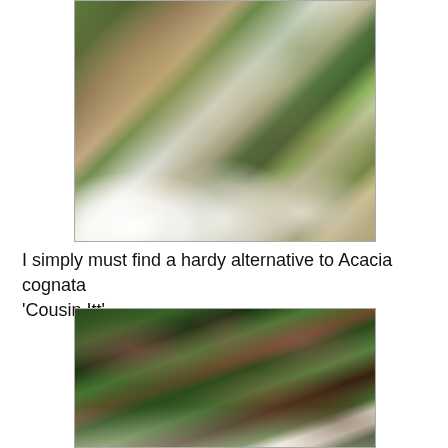[Figure (photo): Garden scene with white pots, flowering plants, stone pillars with climbing vines, and a white fabric-covered object in the center]
I simply must find a hardy alternative to Acacia cognata 'Cousin Itt'.
[Figure (photo): Close-up of a mixed planting with pink/red flowering plants, dark purple foliage, feathery grasses, and white flowers against a dark background]